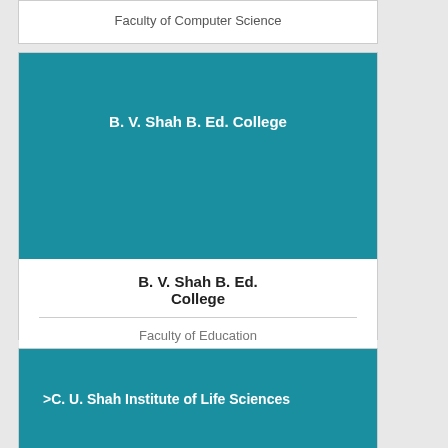Faculty of Computer Science
[Figure (illustration): Teal/blue card for B. V. Shah B. Ed. College]
B. V. Shah B. Ed. College
Faculty of Education
[Figure (illustration): Teal/blue card for >C. U. Shah Institute of Life Sciences]
>C. U. Shah Institute of Life Sciences